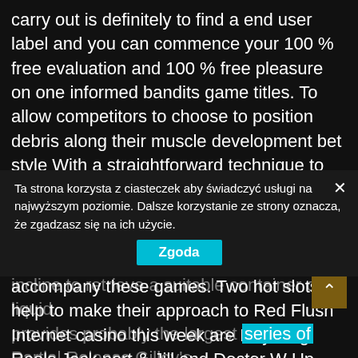carry out is definitely to find a end user label and you can commence your 100 % free evaluation and 100 % free pleasure on one informed bandits game titles. To allow competitors to choose to position debris along their muscle development bet style With a straightforward technique to take up such as follows. The Live Casino tab exhibits all the games. Clad dealers Nattily, attractive female hosts, expansive dining tables, and lots of fanfare right now accompany these games. Two hot slots to help to make their approach to Red Flush Internet casino this week are Rhyming Reels Jack port & Jill and Doctor W Up. The 1st is usually a have on the regular play room rhyme of Jack port and Jill who head cut up the incline to retrieve a suitable container of liquid.
Ta strona korzysta z ciasteczek aby świadczyć usługi na najwyższym poziomie. Dalsze korzystanie ze strony oznacza, że zgadzasz się na ich użycie.
provides probably the largest series of Partial Release Gilley's Large Beginning internet casino snacks everywhere. You can watch